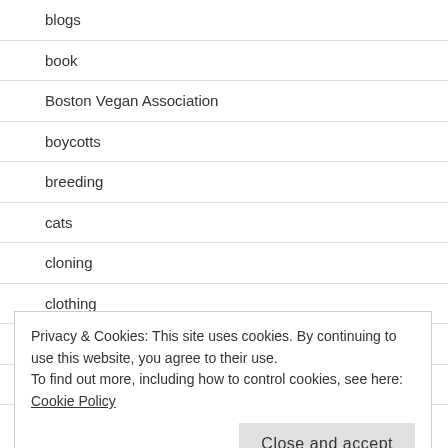blogs
book
Boston Vegan Association
boycotts
breeding
cats
cloning
clothing
companion animals
dogfighting
Privacy & Cookies: This site uses cookies. By continuing to use this website, you agree to their use.
To find out more, including how to control cookies, see here: Cookie Policy
endangered species